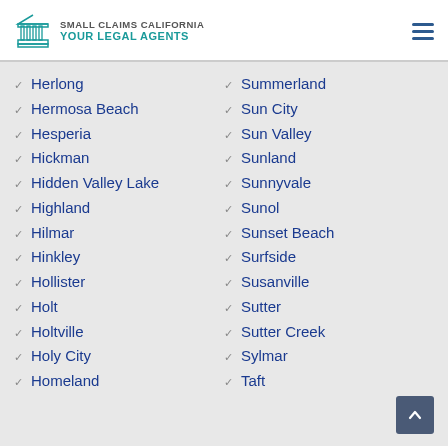Small Claims California Your Legal Agents
Herlong
Hermosa Beach
Hesperia
Hickman
Hidden Valley Lake
Highland
Hilmar
Hinkley
Hollister
Holt
Holtville
Holy City
Homeland
Summerland
Sun City
Sun Valley
Sunland
Sunnyvale
Sunol
Sunset Beach
Surfside
Susanville
Sutter
Sutter Creek
Sylmar
Taft